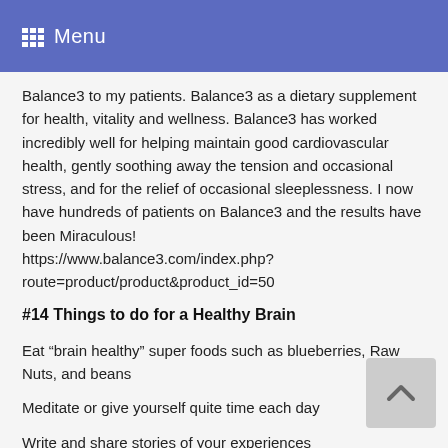Menu
Balance3 to my patients. Balance3 as a dietary supplement for health, vitality and wellness. Balance3 has worked incredibly well for helping maintain good cardiovascular health, gently soothing away the tension and occasional stress, and for the relief of occasional sleeplessness. I now have hundreds of patients on Balance3 and the results have been Miraculous! https://www.balance3.com/index.php?route=product/product&product_id=50
#14 Things to do for a Healthy Brain
Eat “brain healthy” super foods such as blueberries, Raw Nuts, and beans
Meditate or give yourself quite time each day
Write and share stories of your experiences
Exercise at least 30 min a day
Get over 8 hours of sleep [Follow the sun patters sleep when the sun goes down and awake when the sun rises]